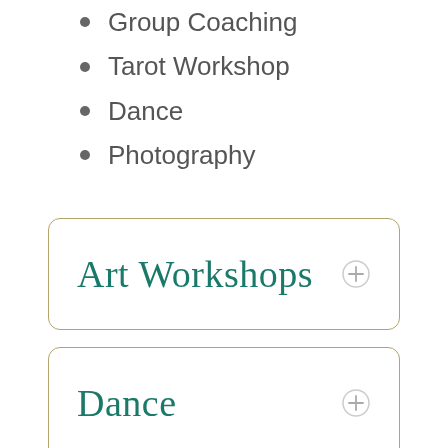Group Coaching
Tarot Workshop
Dance
Photography
Art Workshops
Dance
Insight and